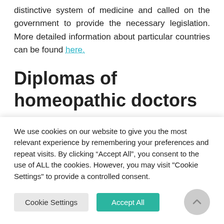distinctive system of medicine and called on the government to provide the necessary legislation. More detailed information about particular countries can be found here.
Diplomas of homeopathic doctors
In Austria, Germany and Switzerland the diplomas of homeopathic doctors are issued by
We use cookies on our website to give you the most relevant experience by remembering your preferences and repeat visits. By clicking “Accept All”, you consent to the use of ALL the cookies. However, you may visit "Cookie Settings" to provide a controlled consent.